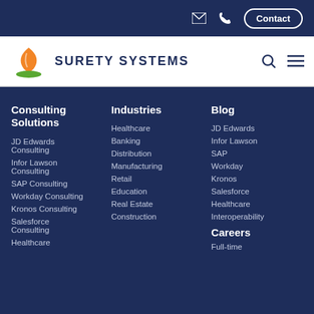Contact
[Figure (logo): Surety Systems logo with orange and green hand/flame graphic and text SURETY SYSTEMS]
Consulting Solutions
JD Edwards Consulting
Infor Lawson Consulting
SAP Consulting
Workday Consulting
Kronos Consulting
Salesforce Consulting
Healthcare
Industries
Healthcare
Banking
Distribution
Manufacturing
Retail
Education
Real Estate
Construction
Blog
JD Edwards
Infor Lawson
SAP
Workday
Kronos
Salesforce
Healthcare
Interoperability
Careers
Full-time